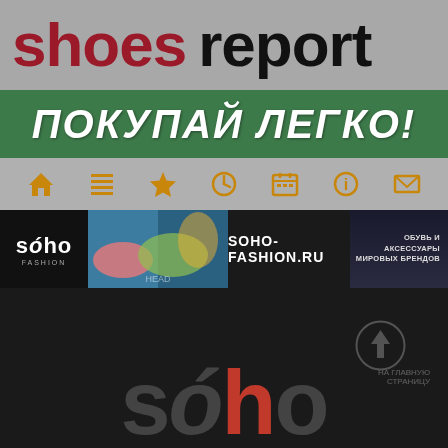shoes report
ПОКУПАЙ ЛЕГКО!
[Figure (infographic): Navigation icon bar with home, list, star, clock, calendar, info, and mail icons in gold/amber color]
[Figure (infographic): Soho Fashion advertisement banner showing colorful sneakers, soho-fashion.ru URL, and text ОБУВЬ И АКСЕССУАРЫ МИРОВЫХ БРЕНДОВ]
[Figure (logo): Large dark background section showing the Soho brand logo in large semi-transparent white italic letters with a red accent, and a circular upload arrow icon]